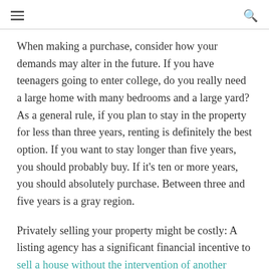[hamburger menu] [search icon]
When making a purchase, consider how your demands may alter in the future. If you have teenagers going to enter college, do you really need a large home with many bedrooms and a large yard? As a general rule, if you plan to stay in the property for less than three years, renting is definitely the best option. If you want to stay longer than five years, you should probably buy. If it’s ten or more years, you should absolutely purchase. Between three and five years is a gray region.
Privately selling your property might be costly: A listing agency has a significant financial incentive to sell a house without the intervention of another agency. If the selling agency is successful, she will get the whole